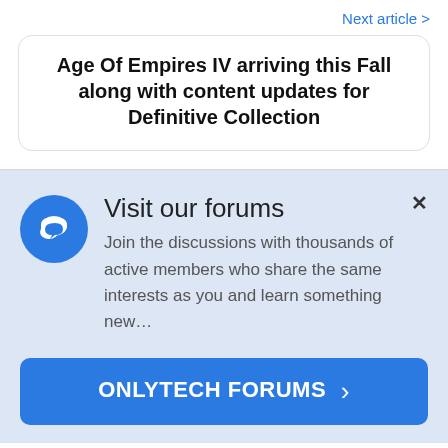Next article >
Age Of Empires IV arriving this Fall along with content updates for Definitive Collection
Visit our forums
Join the discussions with thousands of active members who share the same interests as you and learn something new…
ONLYTECH FORUMS >